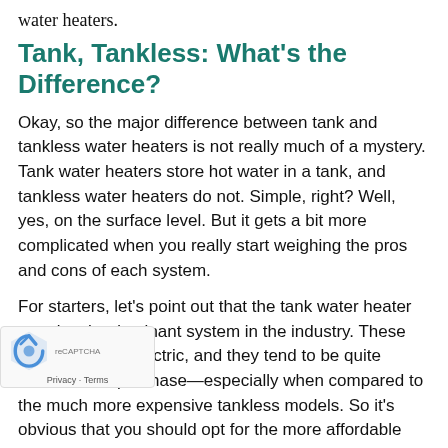water heaters.
Tank, Tankless: What's the Difference?
Okay, so the major difference between tank and tankless water heaters is not really much of a mystery. Tank water heaters store hot water in a tank, and tankless water heaters do not. Simple, right? Well, yes, on the surface level. But it gets a bit more complicated when you really start weighing the pros and cons of each system.
For starters, let's point out that the tank water heater remains the dominant system in the industry. These may be gas or electric, and they tend to be quite affordable to purchase—especially when compared to the much more expensive tankless models. So it's obvious that you should opt for the more affordable option, then?
Well, not really. See, tankless water heaters are definitely more expensive. They also tend to be more efficient than tank water heaters are, though. This is due to the fact that tank water heaters, no matter how well insulated, are subject to standby energy loss. This is the situation in which